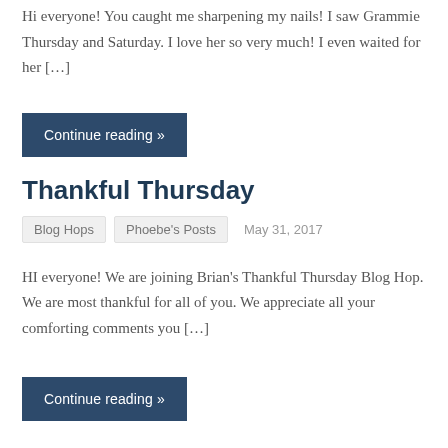Hi everyone! You caught me sharpening my nails! I saw Grammie Thursday and Saturday. I love her so very much! I even waited for her [...]
Continue reading »
Thankful Thursday
Blog Hops   Phoebe's Posts   May 31, 2017
HI everyone! We are joining Brian's Thankful Thursday Blog Hop. We are most thankful for all of you. We appreciate all your comforting comments you [...]
Continue reading »